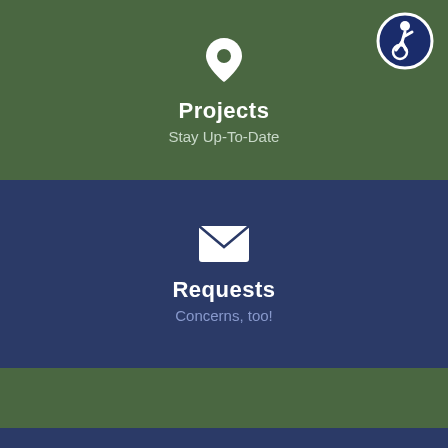[Figure (infographic): Green section with location pin icon, accessibility badge in top right corner, title Projects, subtitle Stay Up-To-Date]
[Figure (infographic): Navy blue section with envelope/mail icon, title Requests, subtitle Concerns, too!]
[Figure (infographic): Green section with water drop icon, title Utilities, subtitle Water & Sewer]
[Figure (infographic): Navy blue strip at the bottom]